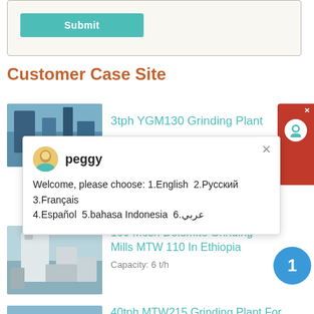[Figure (screenshot): Form area with Submit button (teal/turquoise)]
Customer Case Site
3tph YGM130 Grinding Plant
[Figure (photo): Industrial grinding plant facility photo]
[Figure (other): Chat popup overlay with avatar of peggy and message: Welcome, please choose: 1.English 2.Русский 3.Français 4.Español 5.bahasa Indonesia 6.عربي]
100 Mesh Dolomite Grinding Mills MTW 110 In Ethiopia
Capacity: 6 t/h
[Figure (photo): Dolomite grinding mill MTW 110 in Ethiopia - outdoor industrial equipment]
40tph MTW215 Grinding Plant For Dolomite Processing In Thailand
[Figure (photo): MTW215 grinding plant for dolomite processing in Thailand - mountainous background]